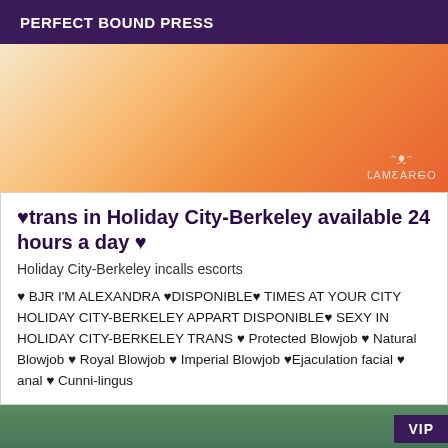PERFECT BOUND PRESS
[Figure (photo): Close-up photo with warm orange/peach tones, with a reversed CAMERAGO watermark in the lower right corner]
♥trans in Holiday City-Berkeley available 24 hours a day ♥
Holiday City-Berkeley incalls escorts
♥ BJR I'M ALEXANDRA ♥DISPONIBLE♥ TIMES AT YOUR CITY HOLIDAY CITY-BERKELEY APPART DISPONIBLE♥ SEXY IN HOLIDAY CITY-BERKELEY TRANS ♥ Protected Blowjob ♥ Natural Blowjob ♥ Royal Blowjob ♥ Imperial Blowjob ♥Ejaculation facial ♥ anal ♥ Cunni-lingus
[Figure (photo): Bottom partial photo with green background tones and a purple VIP badge in the upper right corner]